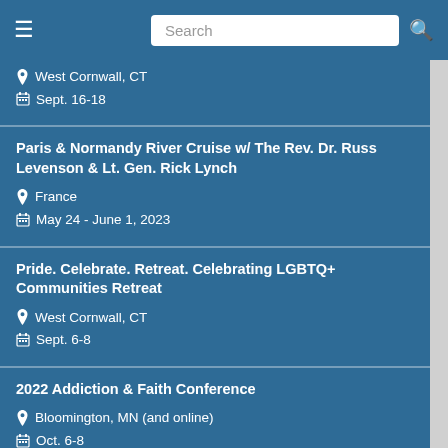Search
West Cornwall, CT
Sept. 16-18
Paris & Normandy River Cruise w/ The Rev. Dr. Russ Levenson & Lt. Gen. Rick Lynch
France
May 24 - June 1, 2023
Pride. Celebrate. Retreat. Celebrating LGBTQ+ Communities Retreat
West Cornwall, CT
Sept. 6-8
2022 Addiction & Faith Conference
Bloomington, MN (and online)
Oct. 6-8
Her Journey: A Holy Land Experience for Women
Holy Land
Jan. 3-13, 2023